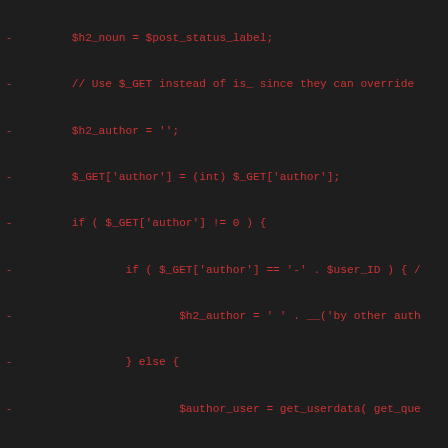[Figure (screenshot): Code diff showing PHP lines removed (red, prefixed with -) and added (green, prefixed with +). Removed lines include $h2_noun, $_GET author handling, $h2_author assignments, and if/else blocks. Added lines include $sendback operations, delete_all doaction block with preg_replace, get_post_status_object, $wpdb->get_col, $doaction='delete', elseif blocks for media/ids/post request handling.]